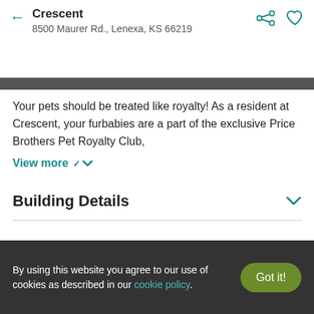Crescent
8500 Maurer Rd., Lenexa, KS 66219
[Figure (photo): Dark-toned interior photo strip showing partial text 'Pantry']
Your pets should be treated like royalty!  As a resident at Crescent, your furbabies are a part of the exclusive Price Brothers Pet Royalty Club,
View more ∨
Building Details
Overview
Ratings and Reviews
By using this website you agree to our use of cookies as described in our cookie policy.